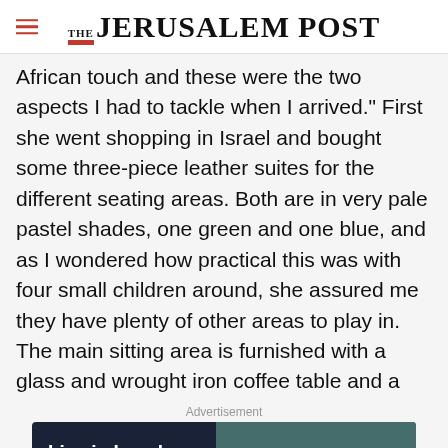THE JERUSALEM POST
African touch and these were the two aspects I had to tackle when I arrived." First she went shopping in Israel and bought some three-piece leather suites for the different seating areas. Both are in very pale pastel shades, one green and one blue, and as I wondered how practical this was with four small children around, she assured me they have plenty of other areas to play in. The main sitting area is furnished with a glass and wrought iron coffee table and a
Advertisement
[Figure (screenshot): Advertisement banner with dark navy background showing text 'Live in Israel, Study in English.' on the left and a photo of students sitting on grass on the right.]